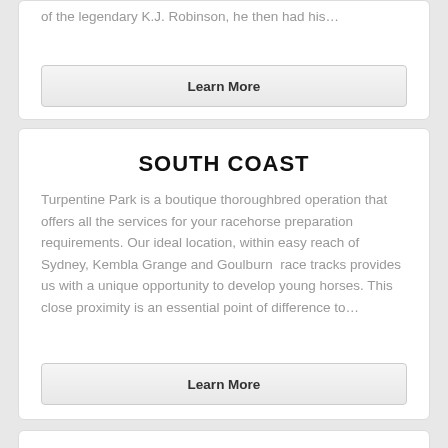of the legendary K.J. Robinson, he then had his…
Learn More
SOUTH COAST
Turpentine Park is a boutique thoroughbred operation that offers all the services for your racehorse preparation requirements. Our ideal location, within easy reach of Sydney, Kembla Grange and Goulburn  race tracks provides us with a unique opportunity to develop young horses. This close proximity is an essential point of difference to…
Learn More